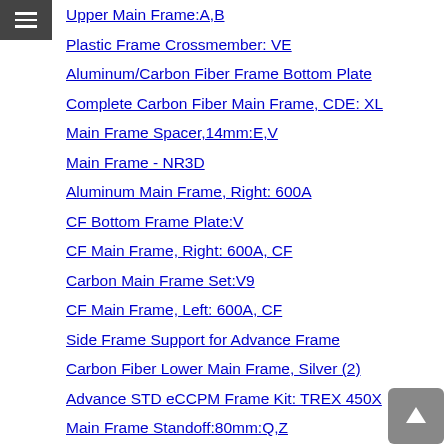Upper Main Frame:A,B
Plastic Frame Crossmember: VE
Aluminum/Carbon Fiber Frame Bottom Plate
Complete Carbon Fiber Main Frame, CDE: XL
Main Frame Spacer,14mm:E,V
Main Frame - NR3D
Aluminum Main Frame, Right: 600A
CF Bottom Frame Plate:V
CF Main Frame, Right: 600A, CF
Carbon Main Frame Set:V9
CF Main Frame, Left: 600A, CF
Side Frame Support for Advance Frame
Carbon Fiber Lower Main Frame, Silver (2)
Advance STD eCCPM Frame Kit: TREX 450X
Main Frame Standoff:80mm:Q,Z
Lower Main Frame Set:Q,Z
SA Complete Aluminum Main Frame Set, Gray